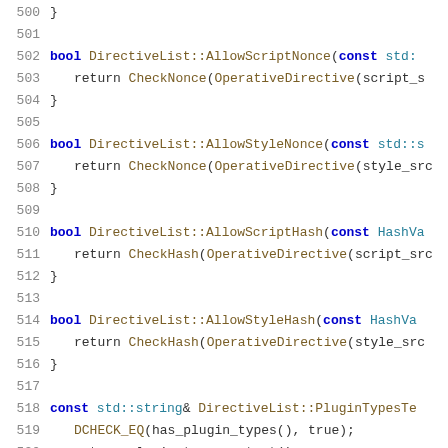Source code lines 500-520 showing C++ DirectiveList class methods: AllowScriptNonce, AllowStyleNonce, AllowScriptHash, AllowStyleHash, and PluginTypesText